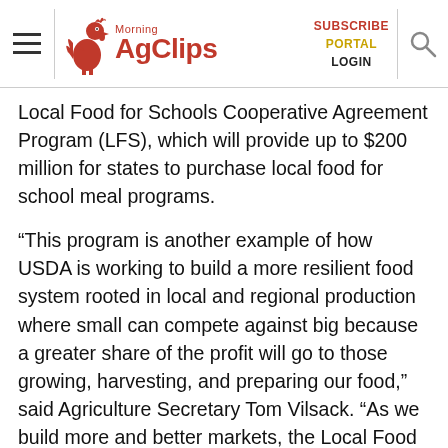Morning AgClips — SUBSCRIBE PORTAL LOGIN
Local Food for Schools Cooperative Agreement Program (LFS), which will provide up to $200 million for states to purchase local food for school meal programs.
“This program is another example of how USDA is working to build a more resilient food system rooted in local and regional production where small can compete against big because a greater share of the profit will go to those growing, harvesting, and preparing our food,” said Agriculture Secretary Tom Vilsack. “As we build more and better markets, the Local Food for Schools Cooperative Agreement Program will provide an opportunity for states to strengthen local and regional food system by increasing links between local farmers, ranchers, and food businesses with schools. This program also gives students access to the local, nutritious foods unique to the area they live in, building stronger